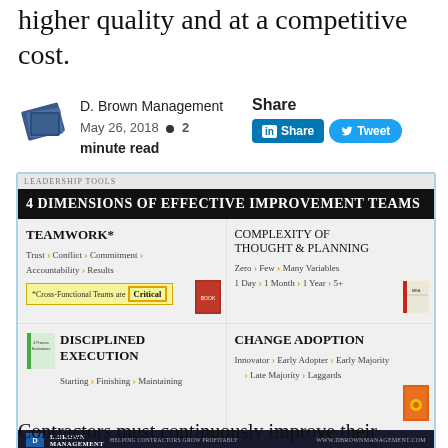higher quality and at a competitive cost.
[Figure (logo): D. Brown Management logo - dark blue book icon]
D. Brown Management
May 26, 2018 • 2 minute read
Share
[Figure (infographic): 4 Dimensions of Effective Improvement Teams infographic showing: Teamwork (Trust, Conflict, Commitment, Accountability, Results; Cross-Functional Teams are Critical), Complexity of Thought & Planning (Zero/Few/Many Variables; 1 Day/1 Month/1 Year/5+), Disciplined Execution (Starting, Finishing, Maintaining), Change Adoption (Innovator, Early Adopter, Early Majority, Late Majority, Laggards)]
Contractors must continuously improve their